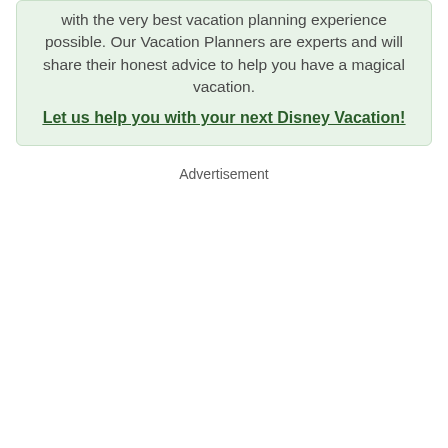with the very best vacation planning experience possible. Our Vacation Planners are experts and will share their honest advice to help you have a magical vacation.
Let us help you with your next Disney Vacation!
Advertisement